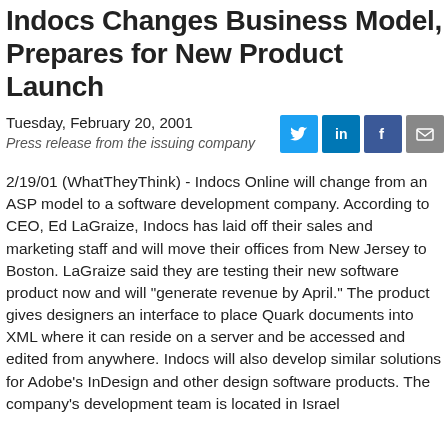Indocs Changes Business Model, Prepares for New Product Launch
Tuesday, February 20, 2001
Press release from the issuing company
2/19/01 (WhatTheyThink) - Indocs Online will change from an ASP model to a software development company. According to CEO, Ed LaGraize, Indocs has laid off their sales and marketing staff and will move their offices from New Jersey to Boston. LaGraize said they are testing their new software product now and will "generate revenue by April." The product gives designers an interface to place Quark documents into XML where it can reside on a server and be accessed and edited from anywhere. Indocs will also develop similar solutions for Adobe's InDesign and other design software products. The company's development team is located in Israel